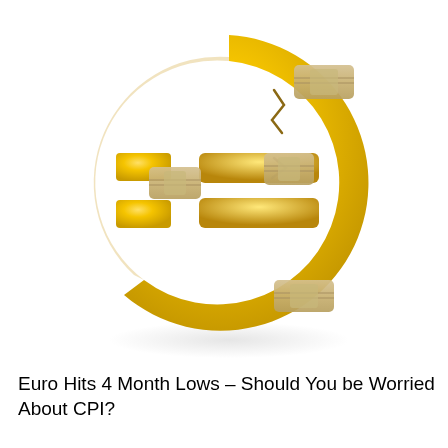[Figure (illustration): A cracked and bandaged 3D golden Euro sign symbol, suggesting damage or financial distress. The Euro symbol is gold-colored with several adhesive bandages applied to its cracks, on a white background.]
Euro Hits 4 Month Lows – Should You be Worried About CPI?